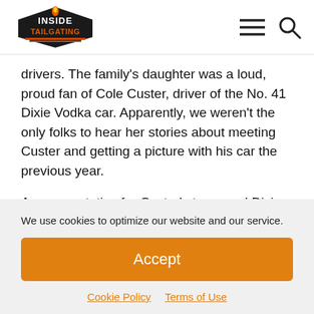Inside Tailgating
drivers. The family’s daughter was a loud, proud fan of Cole Custer, driver of the No. 41 Dixie Vodka car. Apparently, we weren’t the only folks to hear her stories about meeting Custer and getting a picture with his car the previous year.
A representative for Custer’s team and Dixie Vodka, which was a sponsor of the event that night, walked
We use cookies to optimize our website and our service.
Accept
Cookie Policy Terms of Use